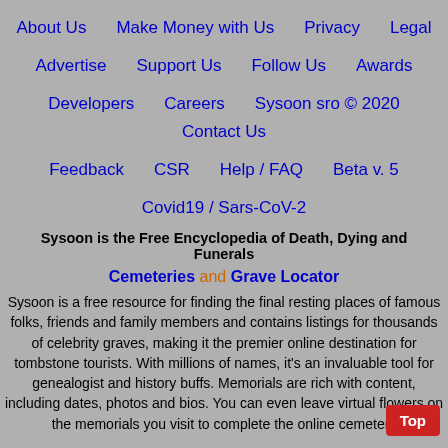About Us | Make Money with Us | Privacy | Legal | Advertise | Support Us | Follow Us | Awards | Developers | Careers | Sysoon sro © 2020 | Contact Us | Feedback | CSR | Help / FAQ | Beta v. 5 | Covid19 / Sars-CoV-2
Sysoon is the Free Encyclopedia of Death, Dying and Funerals
Cemeteries and Grave Locator
Sysoon is a free resource for finding the final resting places of famous folks, friends and family members and contains listings for thousands of celebrity graves, making it the premier online destination for tombstone tourists. With millions of names, it's an invaluable tool for genealogist and history buffs. Memorials are rich with content, including dates, photos and bios. You can even leave virtual flowers on the memorials you visit to complete the online cemetery